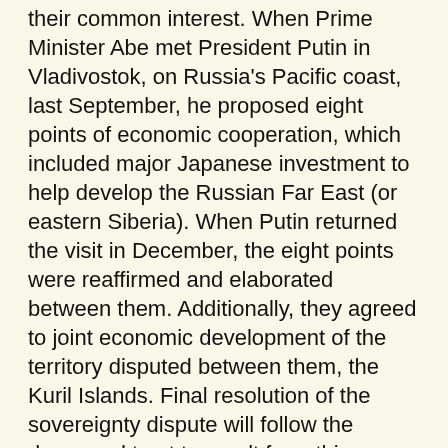their common interest. When Prime Minister Abe met President Putin in Vladivostok, on Russia's Pacific coast, last September, he proposed eight points of economic cooperation, which included major Japanese investment to help develop the Russian Far East (or eastern Siberia). When Putin returned the visit in December, the eight points were reaffirmed and elaborated between them. Additionally, they agreed to joint economic development of the territory disputed between them, the Kuril Islands. Final resolution of the sovereignty dispute will follow the deepened trust to result from this cooperation.
When President Putin proposed this uniquely 21st-century path of negotiations with Japan, he, of course, had in mind Chinese President Xi Jinping's 2013 launching of the Belt and Road Initiative, a revolutionary vision of infrastructural development corridors linking all of Eurasia, spreading out into the Middle East and Africa, and, via a Bering Strait tunnel, into both American continents as well. As we have reported, the Belt and Road Initiative is the outgrowth of policy-proposals which Lyndon and Helga LaRouche have